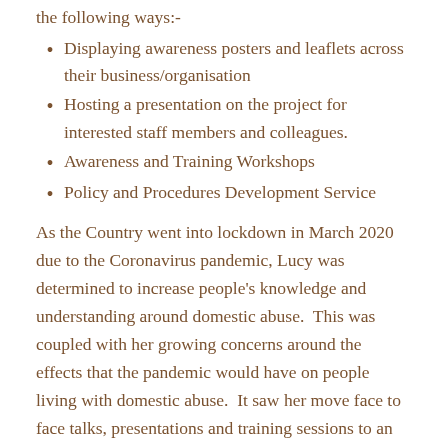the following ways:-
Displaying awareness posters and leaflets across their business/organisation
Hosting a presentation on the project for interested staff members and colleagues.
Awareness and Training Workshops
Policy and Procedures Development Service
As the Country went into lockdown in March 2020 due to the Coronavirus pandemic, Lucy was determined to increase people's knowledge and understanding around domestic abuse.  This was coupled with her growing concerns around the effects that the pandemic would have on people living with domestic abuse.  It saw her move face to face talks, presentations and training sessions to an online format that made them even more accessible, not only across the county of Essex,